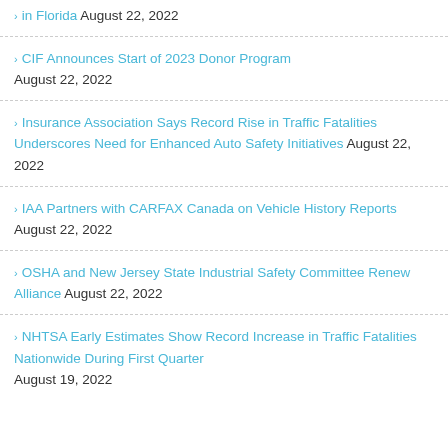in Florida August 22, 2022
CIF Announces Start of 2023 Donor Program August 22, 2022
Insurance Association Says Record Rise in Traffic Fatalities Underscores Need for Enhanced Auto Safety Initiatives August 22, 2022
IAA Partners with CARFAX Canada on Vehicle History Reports August 22, 2022
OSHA and New Jersey State Industrial Safety Committee Renew Alliance August 22, 2022
NHTSA Early Estimates Show Record Increase in Traffic Fatalities Nationwide During First Quarter August 19, 2022